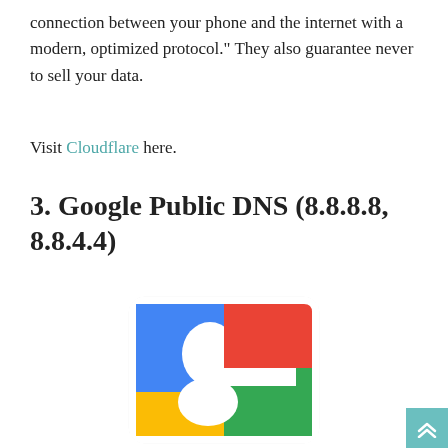connection between your phone and the internet with a modern, optimized protocol." They also guarantee never to sell your data.
Visit Cloudflare here.
3. Google Public DNS (8.8.8.8, 8.8.4.4)
[Figure (logo): Google logo icon — stylized lowercase 'g' in blue, red, green, and yellow on a white rounded-corner square background]